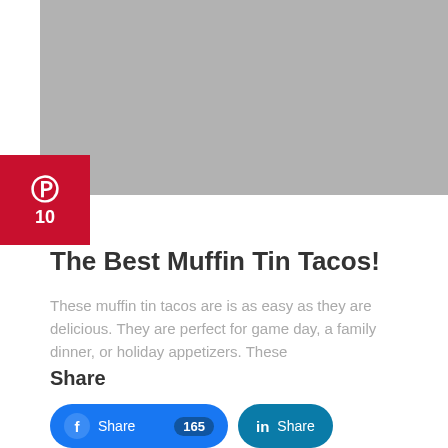[Figure (photo): Gray placeholder image area at top of page]
[Figure (infographic): Pinterest badge showing P icon and number 10 in red square]
The Best Muffin Tin Tacos!
These muffin tin tacos are is as easy as they are delicious. They are perfect for game day, a family dinner, or holiday appetizers. These
Share
Share 165  Share  Pin It! 472  Share  Tweet
627